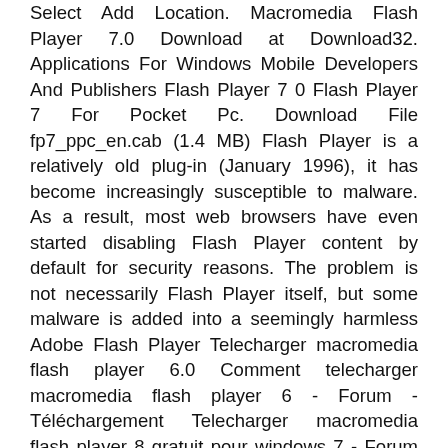Select Add Location. Macromedia Flash Player 7.0 Download at Download32. Applications For Windows Mobile Developers And Publishers Flash Player 7 0 Flash Player 7 For Pocket Pc. Download File fp7_ppc_en.cab (1.4 MB) Flash Player is a relatively old plug-in (January 1996), it has become increasingly susceptible to malware. As a result, most web browsers have even started disabling Flash Player content by default for security reasons. The problem is not necessarily Flash Player itself, but some malware is added into a seemingly harmless Adobe Flash Player Telecharger macromedia flash player 6.0 Comment telecharger macromedia flash player 6 - Forum - Téléchargement Telecharger macromedia flash player 8 gratuit pour windows 7 - Forum - Logiciels Nov 11, 2014 · Windows 7 x64 (12) Windows Vista (35) Windows Vista x64 (12) Descargar Versiones Antiguas de Shockwave Player para Windows 7 x64 Ocultar Versiones de Desarrollo tead. Descargar la última versión de Macromedia Flash Player para Mozilla para